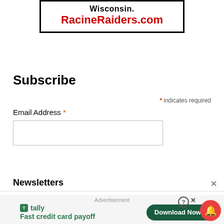[Figure (other): Advertisement box with bold black border showing 'Wisconsin.' in bold black text and 'RacineRaiders.com' in bold red text below]
Subscribe
* indicates required
Email Address *
Newsletters
Advertisement
[Figure (other): Tally app advertisement showing green Tally logo, 'Fast credit card payoff' tagline, and 'Download Now' button with arrow]